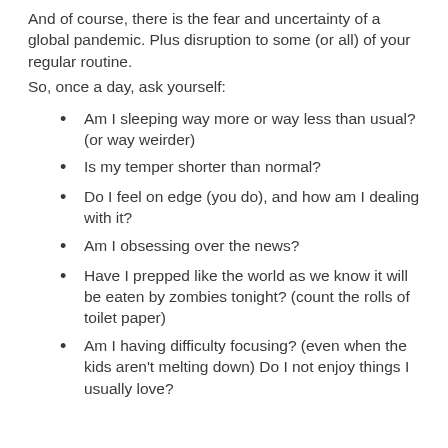And of course, there is the fear and uncertainty of a global pandemic. Plus disruption to some (or all) of your regular routine.
So, once a day, ask yourself:
Am I sleeping way more or way less than usual? (or way weirder)
Is my temper shorter than normal?
Do I feel on edge (you do), and how am I dealing with it?
Am I obsessing over the news?
Have I prepped like the world as we know it will be eaten by zombies tonight? (count the rolls of toilet paper)
Am I having difficulty focusing? (even when the kids aren't melting down) Do I not enjoy things I usually love?